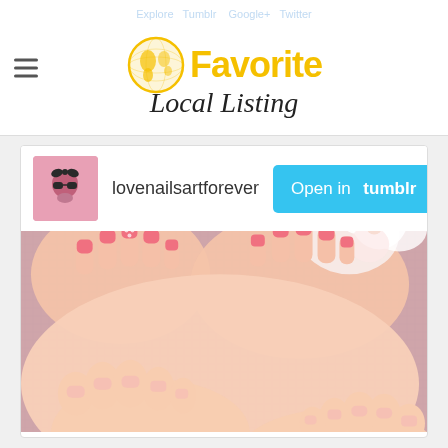Favorite Local Listing
lovenailsartforever
Open in tumblr
[Figure (photo): Close-up photo of hands and feet with coral/pink nail polish on a pink background, with white flower. Watermark: cqnailscalabasas.com]